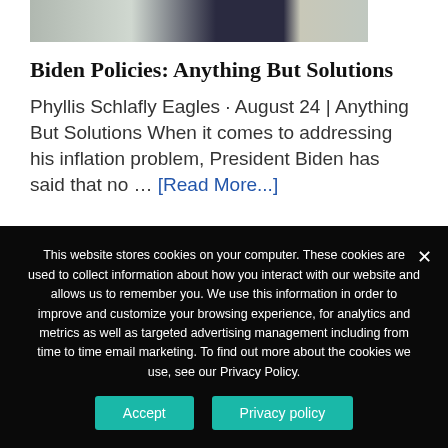[Figure (photo): Partial image of a gas price sign showing a digital display reading '3:050', with bare tree branches visible on the left and a pole on the right, gray sky background.]
Biden Policies: Anything But Solutions
Phyllis Schlafly Eagles · August 24 | Anything But Solutions When it comes to addressing his inflation problem, President Biden has said that no … [Read More...]
This website stores cookies on your computer. These cookies are used to collect information about how you interact with our website and allows us to remember you. We use this information in order to improve and customize your browsing experience, for analytics and metrics as well as targeted advertising management including from time to time email marketing. To find out more about the cookies we use, see our Privacy Policy.